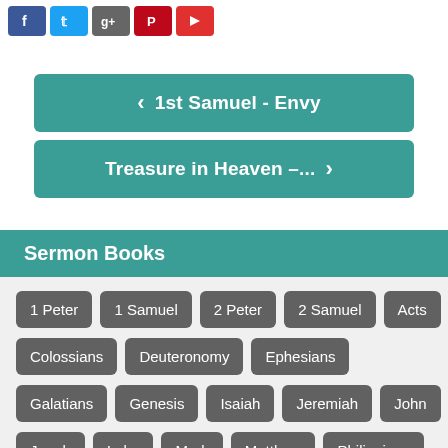[Figure (screenshot): Social media share buttons: Facebook, Twitter, Google+, Pinterest, YouTube]
‹ 1st Samuel - Envy
Treasure in Heaven –... ›
Sermon Books
1 Peter
1 Samuel
2 Peter
2 Samuel
Acts
Colossians
Deuteronomy
Ephesians
Galatians
Genesis
Isaiah
Jeremiah
John
Jonah
Luke
Mark
Matthew
Philippians